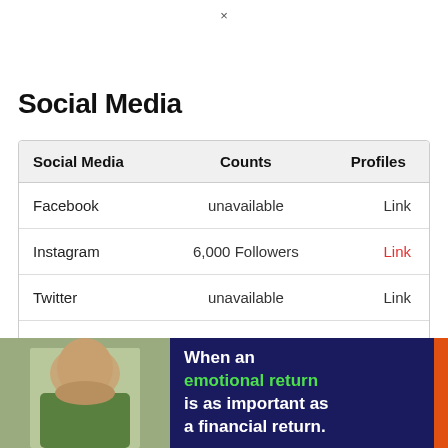×
Social Media
| Social Media | Counts | Profiles |
| --- | --- | --- |
| Facebook | unavailable | Link |
| Instagram | 6,000 Followers | Link |
| Twitter | unavailable | Link |
| SnapChat | unavailable | Link |
[Figure (photo): Banner with a smiling woman on the left and promotional text on a dark blue background: 'When an emotional return is as important as a financial return.']